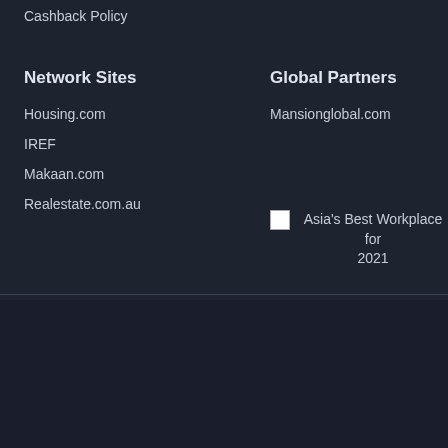Cashback Policy
Network Sites
Global Partners
Housing.com
Mansionglobal.com
IREF
Makaan.com
Realestate.com.au
[Figure (logo): Asia's Best Workplace for 2021 award badge]
Visit us
Plot No. 25, Echelon Square, Sector - 32, Gurgaon - 122001
Contact us
India 1800-103-104-1
Toll Free
Follow Us